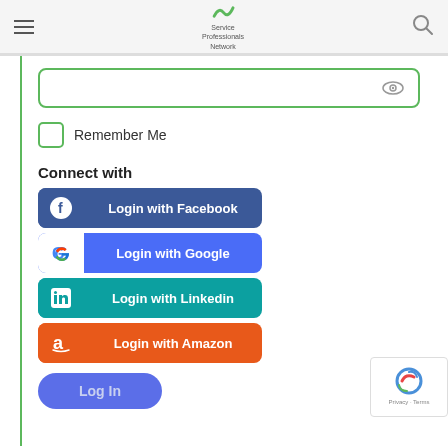Service Professionals Network
[Figure (screenshot): Password input field with green border and eye icon on the right]
Remember Me
Connect with
[Figure (screenshot): Login with Facebook button - blue background with Facebook F icon]
[Figure (screenshot): Login with Google button - blue/purple background with Google G icon]
[Figure (screenshot): Login with Linkedin button - teal background with Linkedin in icon]
[Figure (screenshot): Login with Amazon button - orange background with Amazon a icon]
[Figure (screenshot): Log In button - blue rounded pill shape]
[Figure (logo): reCAPTCHA badge with Privacy and Terms text]